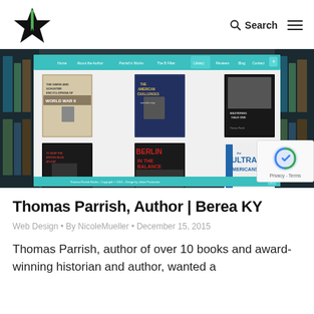Search (navigation header with logo and hamburger menu)
[Figure (screenshot): Screenshot of Thomas Parrish author website showing book library page with 6 book covers in a grid: 'The Simon and Schuster Encyclopedia of World War II', 'The American Threat Poses', 'Mastering Hale One', 'To Keep the British Isles Afloat', 'Berlin in the Balance', 'The Ultra Americans'. Navigation bar with Home, About the Author, Parrish's Works, The B Filter, Library, Reviews, Blog, Contact. Footer shows 'Thomas Parrish Books - Copyright 2015 Design by Julian Production'. Background shows bookshelves.]
Thomas Parrish, Author | Berea KY
Web Design • By NicoleMueller • December 15, 2015
Thomas Parrish, author of over 10 books and award-winning historian and author, wanted a